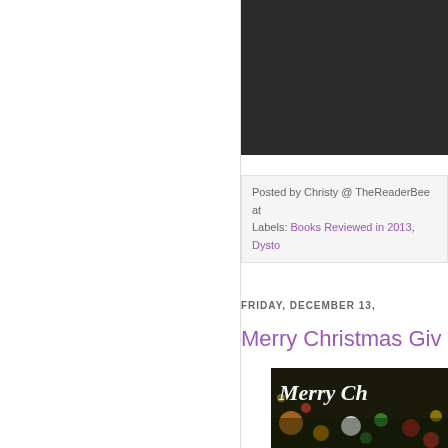[Figure (photo): Dark/black image block at top right, partial book cover or photo cropped]
Posted by Christy @ TheReaderBee at
Labels: Books Reviewed in 2013, Dysto
FRIDAY, DECEMBER 13,
Merry Christmas Giv
[Figure (photo): Christmas themed photo with bokeh lights, Christmas tree ornaments, and white cursive text reading 'Merry Ch']